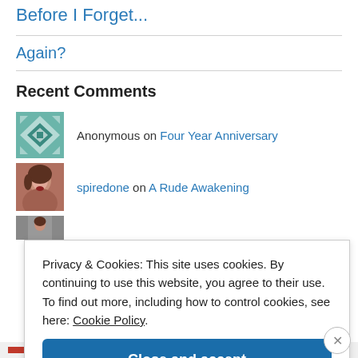Before I Forget...
Again?
Recent Comments
Anonymous on Four Year Anniversary
spiredone on A Rude Awakening
Privacy & Cookies: This site uses cookies. By continuing to use this website, you agree to their use.
To find out more, including how to control cookies, see here: Cookie Policy
Close and accept